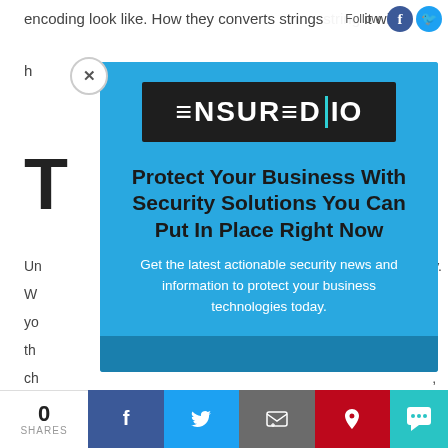encoding look like. How they converts strings it will
h
[Figure (screenshot): EnsuredIO advertisement modal popup with blue background. Contains the EnsuredIO logo (white text on dark background), headline 'Protect Your Business With Security Solutions You Can Put In Place Right Now', and subtext 'Get the latest actionable security news and information to protect your business technologies today.']
T
Un
W
yo
th
ch
bu
pa
0 SHARES | Facebook | Twitter | Email | Pinterest | Chat